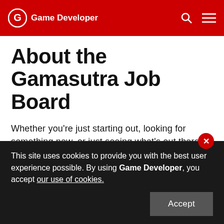Game Developer
About the Gamasutra Job Board
Whether you’re just starting out, looking for something new, or just seeing what’s out there, the Gamasutra Job Board is the place where game developers move ahead in their careers.
Gamasutra’s Job Board is the most diverse, most active, and most established board of its kind in th
This site uses cookies to provide you with the best user experience possible. By using Game Developer, you accept our use of cookies.